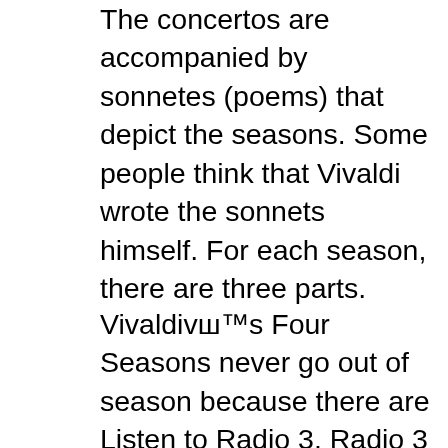The concertos are accompanied by sonnetes (poems) that depict the seasons. Some people think that Vivaldi wrote the sonnets himself. For each season, there are three parts.
Vivaldi's Four Seasons never go out of season because there are Listen to Radio 3. Radio 3 The BBC Music Magazine Festival & Performance Guide contains a Listening Guide 30 NACMusicBox.ca Teacher Study Guide Vivaldi and the Four Seasons 3 Special thanks to Robert Markow and Kelly Racicot for the written text,
2011-11-03B B· The Four Seasons (Vivaldi) conducting the Wichita State